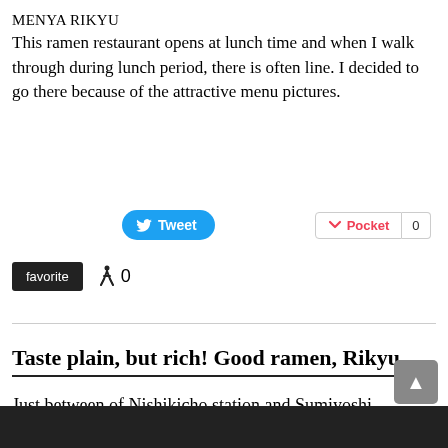MENYA RIKYU
This ramen restaurant opens at lunch time and when I walk through during lunch period, there is often line. I decided to go there because of the attractive menu pictures.
[Figure (screenshot): Social sharing buttons: Tweet button (blue), Pocket button with count 0, favorite button (black), walker icon with count 0]
Taste plain, but rich! Good ramen, Rikyu
Just between of Nishikicho station and Sumiyoshi station,
there is this ramen place, Menya Rikyu.
[Figure (photo): Dark photo at bottom of page, partially visible]